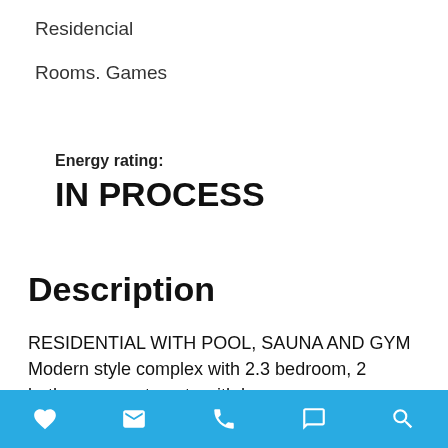Residencial
Rooms. Games
Energy rating:
IN PROCESS
Description
RESIDENTIAL WITH POOL, SAUNA AND GYM Modern style complex with 2.3 bedroom, 2 bathroom apartments with huge
Footer navigation bar with icons: heart, envelope, phone, chat/whatsapp, search